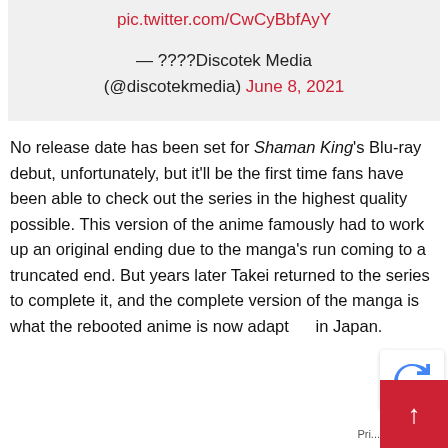pic.twitter.com/CwCyBbfAyY
— ????Discotek Media (@discotekmedia) June 8, 2021
No release date has been set for Shaman King's Blu-ray debut, unfortunately, but it'll be the first time fans have been able to check out the series in the highest quality possible. This version of the anime famously had to work up an original ending due to the manga's run coming to a truncated end. But years later Takei returned to the series to complete it, and the complete version of the manga is what the rebooted anime is now adapting in Japan.